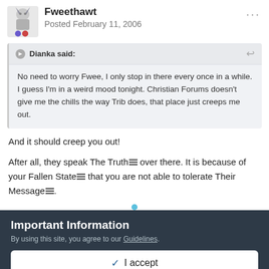Fweethawt
Posted February 11, 2006
Dianka said:
No need to worry Fwee, I only stop in there every once in a while. I guess I'm in a weird mood tonight. Christian Forums doesn't give me the chills the way Trib does, that place just creeps me out.
And it should creep you out!
After all, they speak The Truth over there. It is because of your Fallen State that you are not able to tolerate Their Message.
Important Information
By using this site, you agree to our Guidelines.
I accept